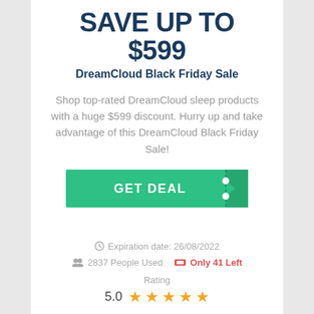SAVE UP TO $599
DreamCloud Black Friday Sale
Shop top-rated DreamCloud sleep products with a huge $599 discount. Hurry up and take advantage of this DreamCloud Black Friday Sale!
[Figure (other): Green GET DEAL button with ticket-corner cutout decoration]
Expiration date: 26/08/2022
2837 People Used   Only 41 Left
Rating
5.0 ★★★★★